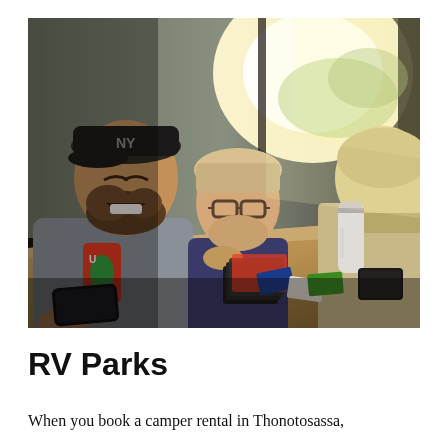[Figure (photo): Three people (a bearded man in a baseball cap laughing and holding a card, a child with glasses covering their mouth laughing, and another child with back to camera) playing a card game at a table inside an RV, warm sunlight coming through a window in the background, with cards and a water bottle on the table.]
RV Parks
When you book a camper rental in Thonotosassa,